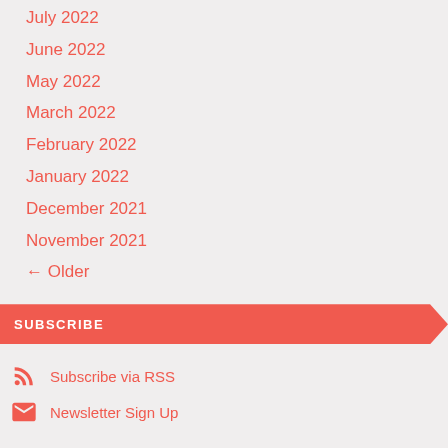July 2022
June 2022
May 2022
March 2022
February 2022
January 2022
December 2021
November 2021
← Older
SUBSCRIBE
Subscribe via RSS
Newsletter Sign Up
About the Fringe